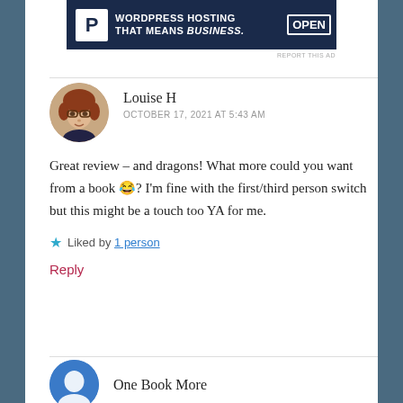[Figure (photo): Advertisement banner: dark navy background with letter P logo and text 'WORDPRESS HOSTING THAT MEANS BUSINESS.' with OPEN sign image on right]
REPORT THIS AD
Louise H
OCTOBER 17, 2021 AT 5:43 AM
Great review – and dragons! What more could you want from a book 😂? I'm fine with the first/third person switch but this might be a touch too YA for me.
★ Liked by 1 person
Reply
One Book More